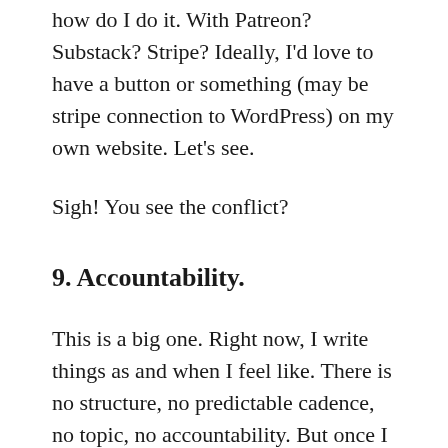how do I do it. With Patreon? Substack? Stripe? Ideally, I'd love to have a button or something (may be stripe connection to WordPress) on my own website. Let's see.
Sigh! You see the conflict?
9. Accountability.
This is a big one. Right now, I write things as and when I feel like. There is no structure, no predictable cadence, no topic, no accountability. But once I decide that I want to be a writer for hire, I would have to be a lot more accountable. Someone said it right that a predictable routine is one of the secrets behind